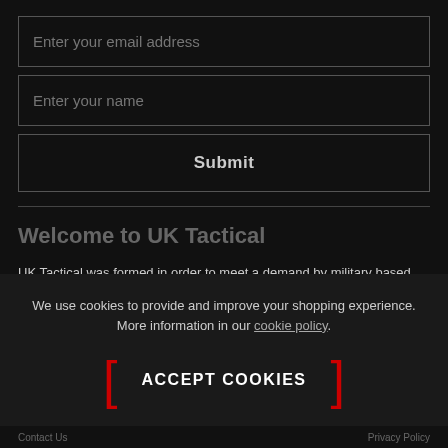Enter your email address
Enter your name
Submit
Welcome to UK Tactical
UK Tactical was formed in order to meet a demand by military based professionals for the most up to date tactical equipment of the highest
We use cookies to provide and improve your shopping experience. More information in our cookie policy.
ACCEPT COOKIES
Contact Us   Privacy Policy